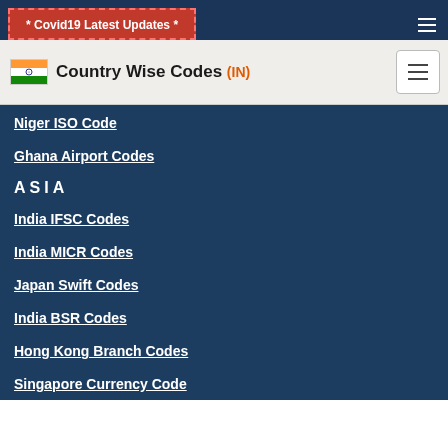* Covid19 Latest Updates *
Country Wise Codes (IN)
Niger ISO Code
Ghana Airport Codes
ASIA
India IFSC Codes
India MICR Codes
Japan Swift Codes
India BSR Codes
Hong Kong Branch Codes
Singapore Currency Code
Pakistan Zip Codes